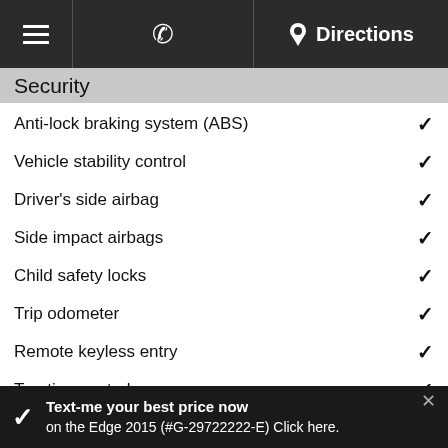Menu | Phone | Directions
Security
Anti-lock braking system (ABS) ✓
Vehicle stability control ✓
Driver's side airbag ✓
Side impact airbags ✓
Child safety locks ✓
Trip odometer ✓
Remote keyless entry ✓
Traction control ✓
Side airbags for the head ✓
Keyless entry ✓
Anti-theft system ✓
Text-me your best price now on the Edge 2015 (#G-29722222-E) Click here.